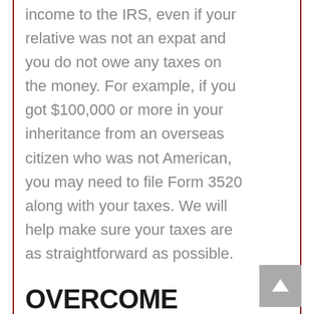income to the IRS, even if your relative was not an expat and you do not owe any taxes on the money. For example, if you got $100,000 or more in your inheritance from an overseas citizen who was not American, you may need to file Form 3520 along with your taxes. We will help make sure your taxes are as straightforward as possible.
OVERCOME INTERNATIONAL TAX